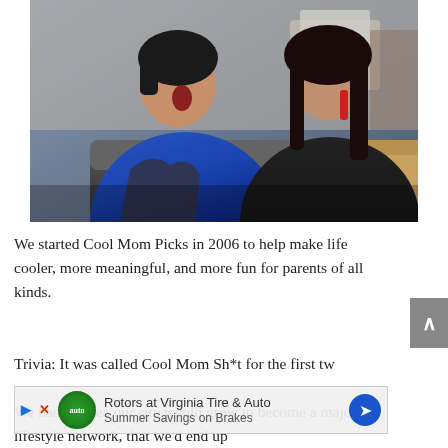[Figure (photo): Two women sitting together in an office/living space. The woman on the left has short dark hair and wears a blue and black top, looking surprised with mouth open. The woman on the right has long dark hair and wears a black outfit, holding a red object while applying lipstick. Office furniture and boxes visible in background.]
We started Cool Mom Picks in 2006 to help make life cooler, more meaningful, and more fun for parents of all kinds.
Trivia: It was called Cool Mom Sh*t for the first tw
[Figure (other): Advertisement banner: Rotors at Virginia Tire & Auto / Summer Savings on Brakes]
We had no idea our site would grow to become a major lifestyle network, that we'd end up